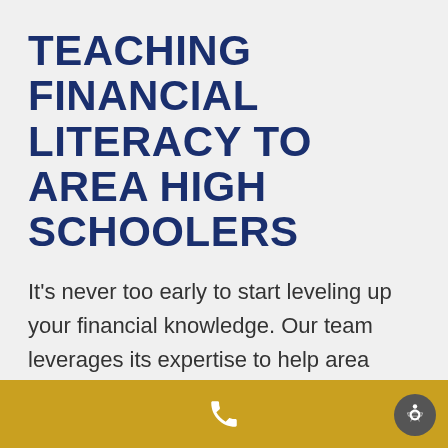TEACHING FINANCIAL LITERACY TO AREA HIGH SCHOOLERS
It's never too early to start leveling up your financial knowledge. Our team leverages its expertise to help area teens improve their financial literacy, including at a recent speaking engagement at Boardman High School. Budgeting tips,
[Figure (infographic): Gold/yellow footer bar with a white phone handset icon centered, and a circular grey accessibility icon in the bottom right corner.]